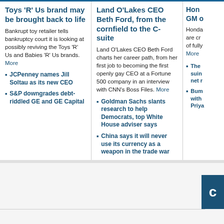Toys 'R' Us brand may be brought back to life
Bankrupt toy retailer tells bankruptcy court it is looking at possibly reviving the Toys 'R' Us and Babies 'R' Us brands. More
JCPenney names Jill Soltau as its new CEO
S&P downgrades debt-riddled GE and GE Capital
Land O'Lakes CEO Beth Ford, from the cornfield to the C-suite
Land O'Lakes CEO Beth Ford charts her career path, from her first job to becoming the first openly gay CEO at a Fortune 500 company in an interview with CNN's Boss Files. More
Goldman Sachs slants research to help Democrats, top White House adviser says
China says it will never use its currency as a weapon in the trade war
Hon GM o
Honda are cr of fully More
The suin net r
Bum with Priya